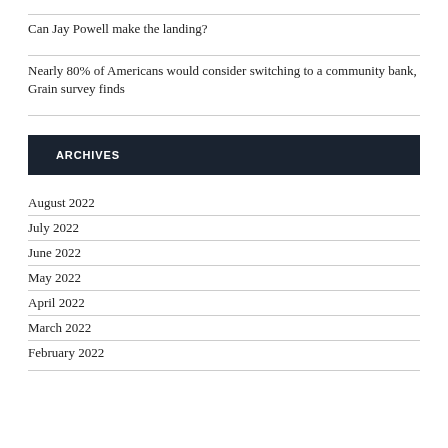Can Jay Powell make the landing?
Nearly 80% of Americans would consider switching to a community bank, Grain survey finds
ARCHIVES
August 2022
July 2022
June 2022
May 2022
April 2022
March 2022
February 2022